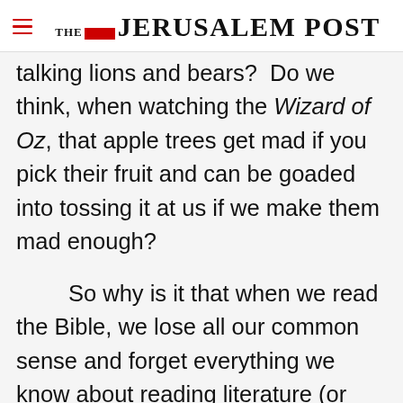THE JERUSALEM POST
talking lions and bears?  Do we think, when watching the Wizard of Oz, that apple trees get mad if you pick their fruit and can be goaded into tossing it at us if we make them mad enough?
So why is it that when we read the Bible, we lose all our common sense and forget everything we know about reading literature (or
Advertisement